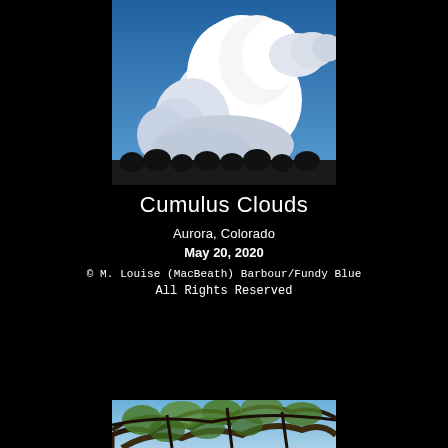[Figure (photo): Photograph of large cumulus clouds (cumulonimbus) against a blue sky, with a dark treeline silhouette at the bottom of the image. Taken in Aurora, Colorado.]
Cumulus Clouds
Aurora, Colorado
May 20, 2020
© M. Louise (MacBeath) Barbour/Fundy Blue
All Rights Reserved
[Figure (photo): Partial photograph of a tree with branches and green foliage visible at the bottom of the page, partially cropped.]